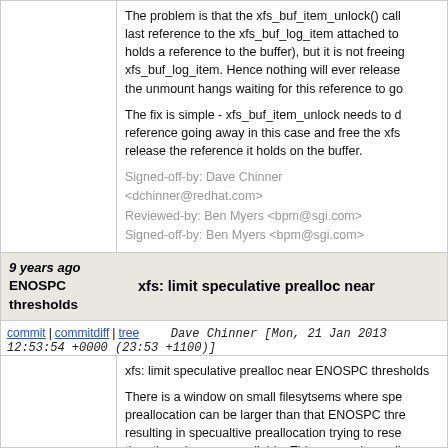The problem is that the xfs_buf_item_unlock() call last reference to the xfs_buf_log_item attached to holds a reference to the buffer), but it is not freeing xfs_buf_log_item. Hence nothing will ever release the unmount hangs waiting for this reference to go
The fix is simple - xfs_buf_item_unlock needs to d reference going away in this case and free the xfs release the reference it holds on the buffer.
Signed-off-by: Dave Chinner <dchinner@redhat.com>
Reviewed-by: Ben Myers <bpm@sgi.com>
Signed-off-by: Ben Myers <bpm@sgi.com>
9 years ago
ENOSPC thresholds   xfs: limit speculative prealloc near
commit | commitdiff | tree   Dave Chinner [Mon, 21 Jan 2013 12:53:54 +0000 (23:53 +1100)]
xfs: limit speculative prealloc near ENOSPC thresholds
There is a window on small filesytsems where speculative preallocation can be larger than that ENOSPC threshold resulting in specualtive preallocation trying to reserve more than there is space available. This causes immediately triggered, prealloc to be turned off and flushing to next write (i.e. next 4k page), we do exactly the same effective drive into synchronous 4k writes by triggered